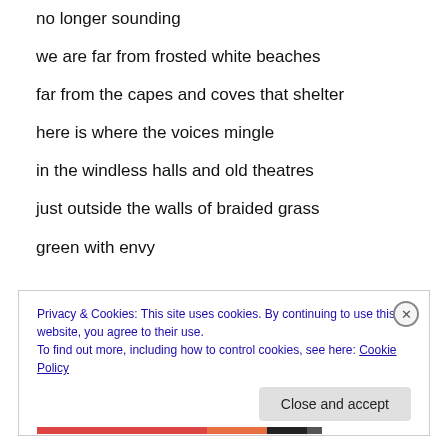no longer sounding
we are far from frosted white beaches
far from the capes and coves that shelter
here is where the voices mingle
in the windless halls and old theatres
just outside the walls of braided grass
green with envy
Privacy & Cookies: This site uses cookies. By continuing to use this website, you agree to their use. To find out more, including how to control cookies, see here: Cookie Policy